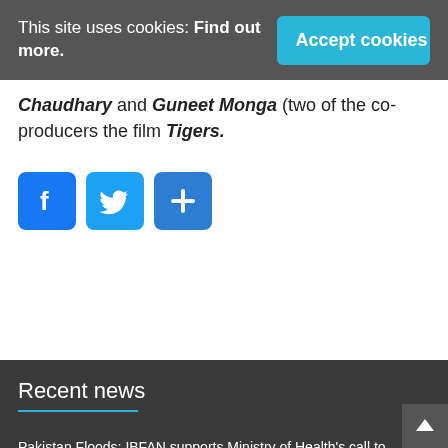This site uses cookies: Find out more.
Accept cookies
Chaudhary and Guneet Monga (two of the co-producers the film Tigers.
[Figure (other): Social sharing buttons: Facebook (blue), Twitter (blue), and More/Share (blue with plus icon)]
Recent news
Pakistan Floods: IBFAN supports Ministry of Health's call to protect breastfeeding
CODEX FOLLOW UP FORMULA STANDARD MUST HAVE